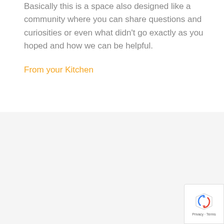Basically this is a space also designed like a community where you can share questions and curiosities or even what didn't go exactly as you hoped and how we can be helpful.
From your Kitchen
apple aubergine Biscotti bread bruschetta butter Cheese Durum Wheat Semolina Flour Emilia Romagna fish Frittata Gnocchi Gorgonzola cheese Lazio Lombardy mozzarella mushroom Naples Pancetta